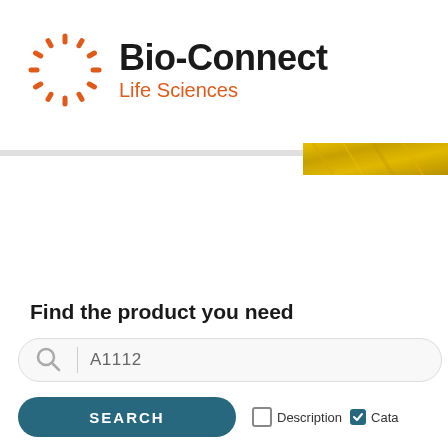[Figure (logo): Bio-Connect Life Sciences logo with orange dashed circle icon and company name]
Find the product you need
[Figure (screenshot): Search box with magnifying glass icon, divider, and text 'A1112']
[Figure (screenshot): SEARCH button in dark teal, Description checkbox (unchecked), Cata checkbox (checked)]